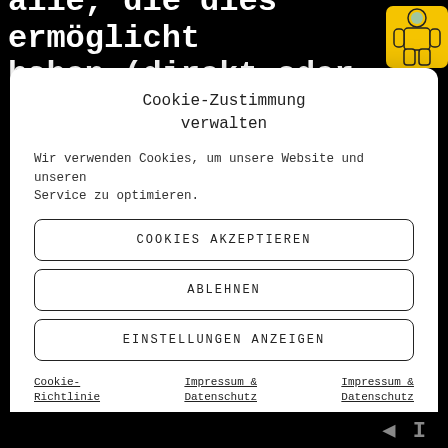alle, die dies ermöglicht haben (direkt oder
[Figure (illustration): Hazmat suit figure icon in yellow on black background]
Cookie-Zustimmung verwalten
Wir verwenden Cookies, um unsere Website und unseren Service zu optimieren.
COOKIES AKZEPTIEREN
ABLEHNEN
EINSTELLUNGEN ANZEIGEN
Cookie-Richtlinie
Impressum & Datenschutz
Impressum & Datenschutz